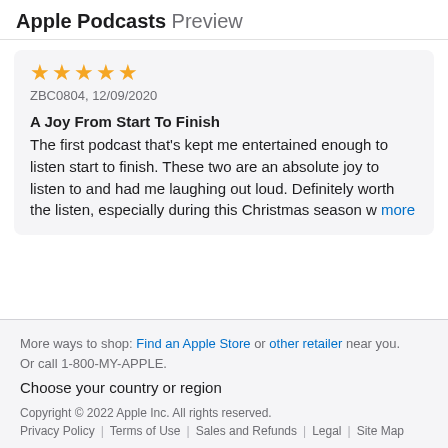Apple Podcasts Preview
ZBC0804, 12/09/2020
A Joy From Start To Finish
The first podcast that's kept me entertained enough to listen start to finish. These two are an absolute joy to listen to and had me laughing out loud. Definitely worth the listen, especially during this Christmas season w more
More ways to shop: Find an Apple Store or other retailer near you. Or call 1-800-MY-APPLE. Choose your country or region Copyright © 2022 Apple Inc. All rights reserved. Privacy Policy | Terms of Use | Sales and Refunds | Legal | Site Map